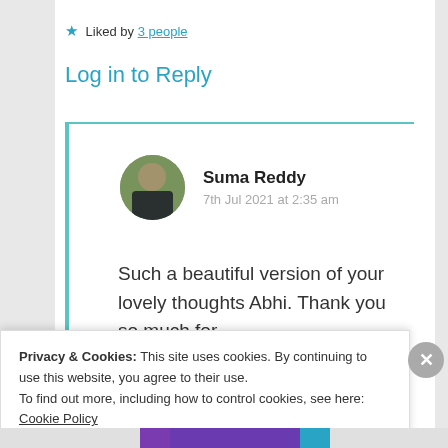★ Liked by 3 people
Log in to Reply
Suma Reddy
7th Jul 2021 at 2:35 am
Such a beautiful version of your lovely thoughts Abhi. Thank you so much for
Privacy & Cookies: This site uses cookies. By continuing to use this website, you agree to their use. To find out more, including how to control cookies, see here: Cookie Policy
Close and accept